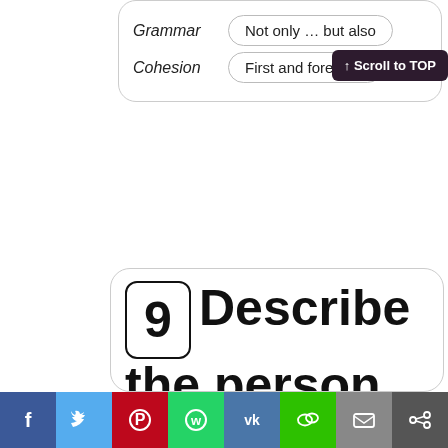Grammar
Not only … but also
Cohesion
First and foremost
↑ Scroll to TOP
9  Describe the person who you most like to spend time
[Figure (other): Social sharing bar with icons for Facebook, Twitter, Pinterest, WhatsApp, VK, WeChat, Email, and Share]
to spend time